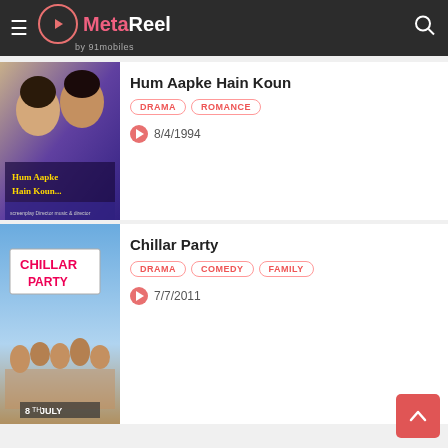MetaReel by 91mobiles
Hum Aapke Hain Koun
DRAMA  ROMANCE
8/4/1994
Chillar Party
DRAMA  COMEDY  FAMILY
7/7/2011